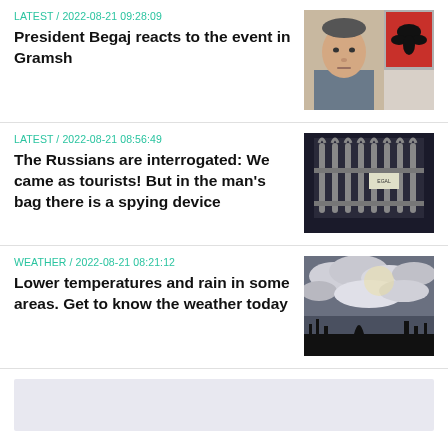LATEST / 2022-08-21 09:28:09
President Begaj reacts to the event in Gramsh
[Figure (photo): Portrait photo of President Begaj in military uniform with Albanian flag in background]
LATEST / 2022-08-21 08:56:49
The Russians are interrogated: We came as tourists! But in the man's bag there is a spying device
[Figure (photo): Night photo of ornate iron gate with sign reading EGAL or similar]
WEATHER / 2022-08-21 08:21:12
Lower temperatures and rain in some areas. Get to know the weather today
[Figure (photo): Cloudy sky photo with dramatic clouds and silhouetted trees/structures at bottom]